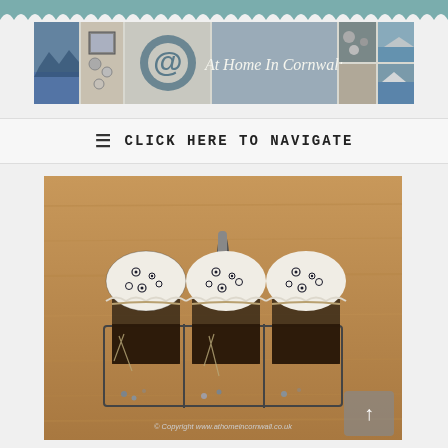[Figure (illustration): Decorative scalloped teal border at top of page]
[Figure (photo): Website banner for 'At Home In Cornwall' blog showing collage of home decor and coastal photos with @ symbol and site name]
☰ CLICK HERE TO NAVIGATE
[Figure (photo): Three glass jars with black floral fabric lids tied with twine, sitting in a wire basket carrier on a wooden table. Copyright www.athomeincornwall.co.uk]